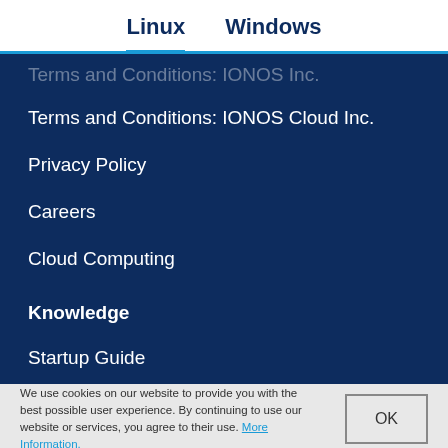Linux  Windows
Terms and Conditions: IONOS Inc. (partially visible)
Terms and Conditions: IONOS Cloud Inc.
Privacy Policy
Careers
Cloud Computing
Knowledge
Startup Guide
Digital Guide (partially visible)
We use cookies on our website to provide you with the best possible user experience. By continuing to use our website or services, you agree to their use. More Information.
OK